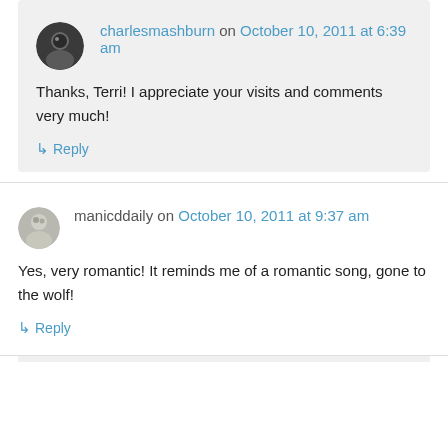charlesmashburn on October 10, 2011 at 6:39 am
Thanks, Terri! I appreciate your visits and comments very much!
↳ Reply
manicddaily on October 10, 2011 at 9:37 am
Yes, very romantic! It reminds me of a romantic song, gone to the wolf!
↳ Reply